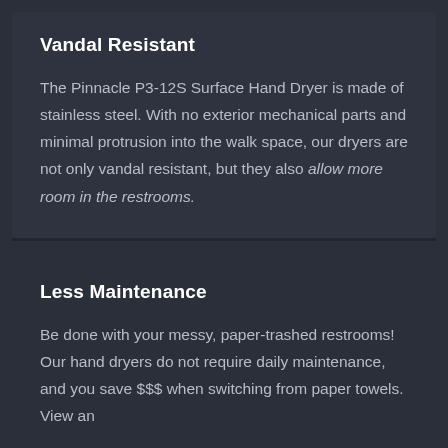Vandal Resistant
The Pinnacle P3-12S Surface Hand Dryer is made of stainless steel. With no exterior mechanical parts and minimal protrusion into the walk space, our dryers are not only vandal resistant, but they also allow more room in the restrooms.
Less Maintenance
Be done with your messy, paper-trashed restrooms!  Our hand dryers do not require daily maintenance, and you save $$$ when switching from paper towels. View an